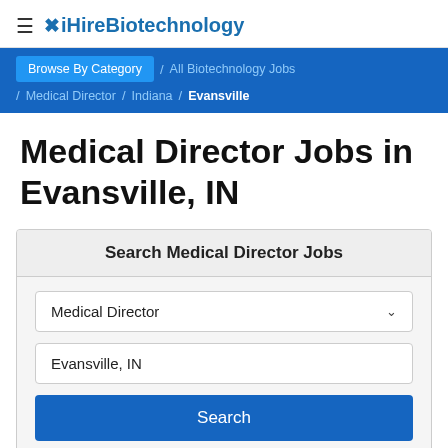≡ ✕ iHireBiotechnology
Browse By Category / All Biotechnology Jobs / Medical Director / Indiana / Evansville
Medical Director Jobs in Evansville, IN
Search Medical Director Jobs
Medical Director
Evansville, IN
Search